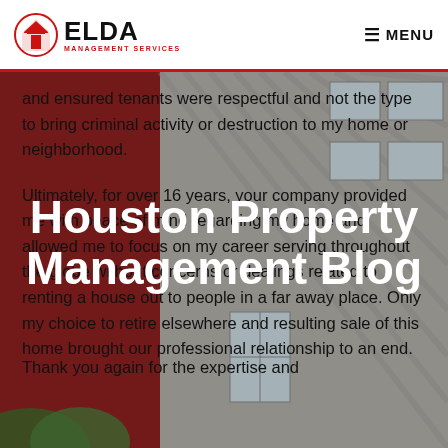ELDA MANAGEMENT SERVICES | MENU
[Figure (photo): Background photo of a modern red and gray multi-story building with windows, taken from a low angle with trees visible at bottom left]
and ensured tenants were respectful and not the type to bring criminal activity or destruction to my home or neighborhood.
Ultimately, for over 16 years, your company provided me with peace of mind regarding my home and allowed me to focus on my career serving throughout the globe without concerns or dealings related to renting a house out to people in a far away place. Only my choice to retire elsewhere and resulting sale of this home brought our professional relationship to an end.
Houston Property Management Blog
Thank you again for the expertise and